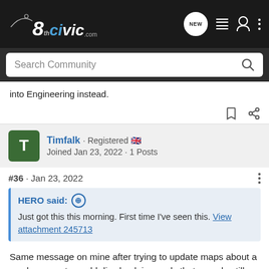[Figure (logo): 8thCivic.com logo and navigation bar with NEW chat icon, list icon, user icon, and three-dot menu]
[Figure (screenshot): Search Community input bar with magnifying glass icon]
into Engineering instead.
Timfalk · Registered 🇬🇧
Joined Jan 23, 2022 · 1 Posts
#36 · Jan 23, 2022
HERO said: ↑
Just got this this morning. First time I've seen this. View attachment 245713
Same message on mine after trying to update maps about a week ago, put my old disc back in, reads that one ok, still have